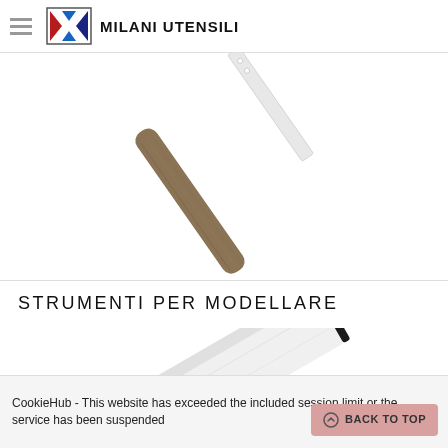MILANI UTENSILI
[Figure (photo): A woodworking or clay modeling tool with a wooden handle, shown at an angle against a white background, partially cropped at top.]
STRUMENTI PER MODELLARE
[Figure (photo): A metallic spatula or smoothing tool with a white/silver flat blade and black edge, shown diagonally against a white background.]
CookieHub - This website has exceeded the included session limit or the service has been suspended